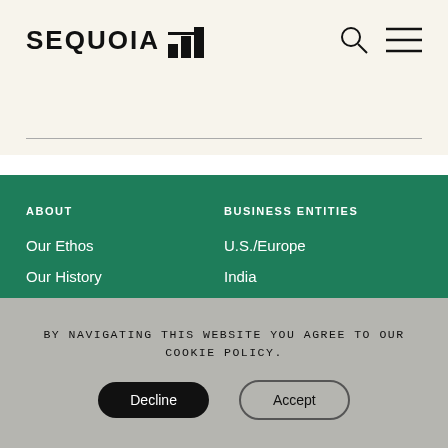SEQUOIA
ABOUT
Our Ethos
Our History
FAQ
BUSINESS ENTITIES
U.S./Europe
India
Southeast Asia
BY NAVIGATING THIS WEBSITE YOU AGREE TO OUR COOKIE POLICY.
Decline
Accept